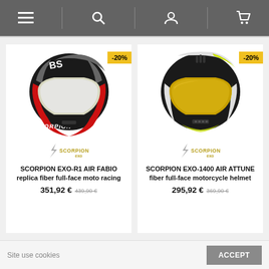Navigation bar with menu, search, account, and cart icons
[Figure (photo): Scorpion EXO-R1 AIR FABIO replica fiber full-face motorcycle racing helmet in black/red/grey with -20% discount badge, with Scorpion EXO brand logo below]
SCORPION EXO-R1 AIR FABIO replica fiber full-face moto racing
351,92 € 439,90 €
[Figure (photo): Scorpion EXO-1400 AIR ATTUNE fiber full-face motorcycle helmet in black/white/yellow with golden visor and -20% discount badge, with Scorpion EXO brand logo below]
SCORPION EXO-1400 AIR ATTUNE fiber full-face motorcycle helmet
295,92 € 369,90 €
Site use cookies
ACCEPT